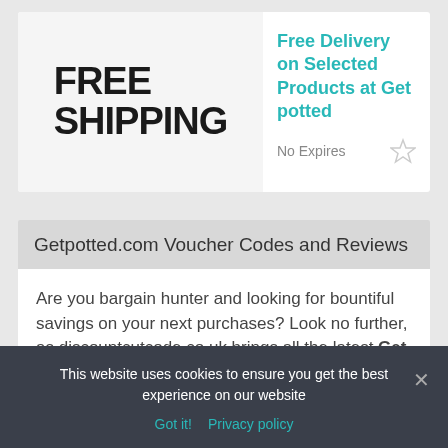[Figure (other): Free shipping coupon box with bold text FREE SHIPPING on grey background]
Free Delivery on Selected Products at Get potted
No Expires
Getpotted.com Voucher Codes and Reviews
Are you bargain hunter and looking for bountiful savings on your next purchases? Look no further, as discountcutcode.co.uk brings all the latest Get Potted Discount Codes and Offers to give customers incredible discounts, offers and deals on their favorites. So enjoy extra savings by using
This website uses cookies to ensure you get the best experience on our website
Got it!  Privacy policy